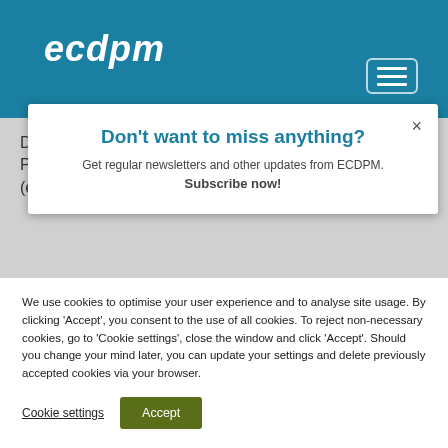ecdpm
[Figure (screenshot): Search box with placeholder text 'Search' and a search icon, plus a hamburger menu button on the right]
D
P
(e
Don't want to miss anything?
Get regular newsletters and other updates from ECDPM.
Subscribe now!
We use cookies to optimise your user experience and to analyse site usage. By clicking ‘Accept’, you consent to the use of all cookies. To reject non-necessary cookies, go to ‘Cookie settings’, close the window and click ‘Accept’. Should you change your mind later, you can update your settings and delete previously accepted cookies via your browser.
Cookie settings   Accept